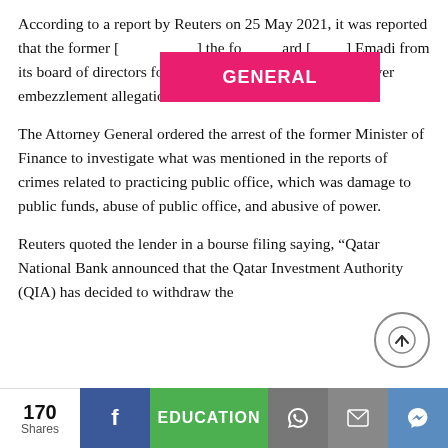According to a report by Reuters on 25 May 2021, it was reported that [GENERAL banner overlay] the former [board removed] Emadi from its board of directors following his arrest earlier in May over embezzlement allegations.
The Attorney General ordered the arrest of the former Minister of Finance to investigate what was mentioned in the reports of crimes related to practicing public office, which was damage to public funds, abuse of public office, and abusive of power.
Reuters quoted the lender in a bourse filing saying, “Qatar National Bank announced that the Qatar Investment Authority (QIA) has decided to withdraw the
170 Shares  f  EDUCATION  [whatsapp]  [email]  [messenger]